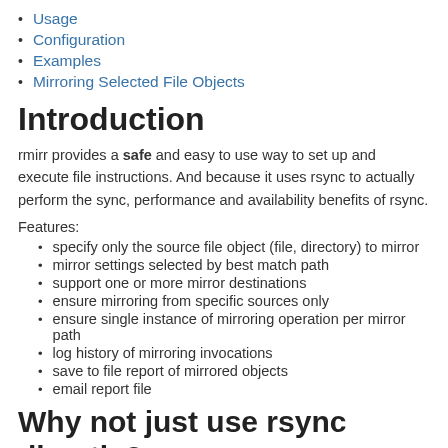Usage
Configuration
Examples
Mirroring Selected File Objects
Introduction
rmirr provides a safe and easy to use way to set up and execute file instructions. And because it uses rsync to actually perform the sync, performance and availability benefits of rsync.
Features:
specify only the source file object (file, directory) to mirror
mirror settings selected by best match path
support one or more mirror destinations
ensure mirroring from specific sources only
ensure single instance of mirroring operation per mirror path
log history of mirroring invocations
save to file report of mirrored objects
email report file
Why not just use rsync directly?